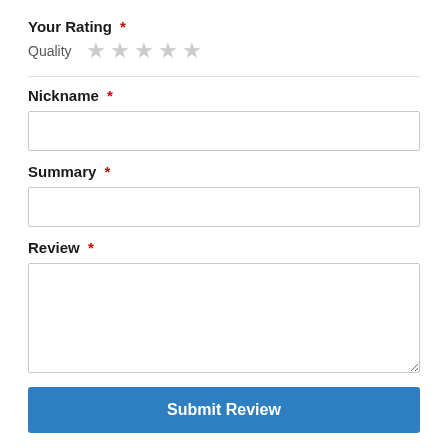Your Rating *
Quality ★★★★★
Nickname *
[Figure (screenshot): Empty text input field for Nickname]
Summary *
[Figure (screenshot): Empty text input field for Summary]
Review *
[Figure (screenshot): Empty textarea field for Review]
Submit Review